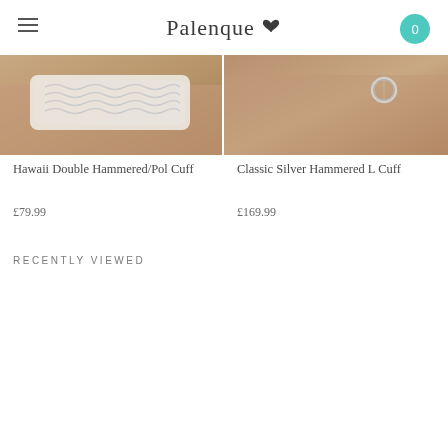Palenque
[Figure (photo): Close-up photo of a white crocheted/woven cuff bracelet on a person's wrist against a warm skin-toned background]
Hawaii Double Hammered/Pol Cuff
£79.99
[Figure (photo): Close-up photo of a silver hammered cuff bracelet on a person's wrist/ear area against a warm beige/skin-toned background]
Classic Silver Hammered L Cuff
£169.99
RECENTLY VIEWED